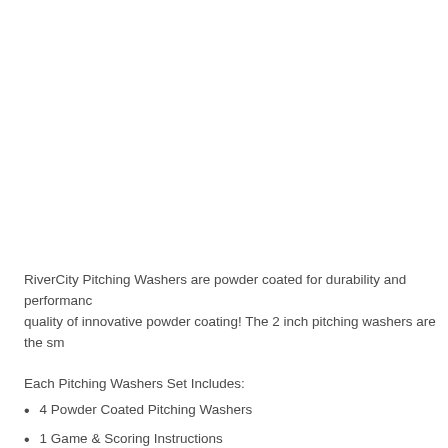RiverCity Pitching Washers are powder coated for durability and performance quality of innovative powder coating! The 2 inch pitching washers are the sm...
Each Pitching Washers Set Includes:
4 Powder Coated Pitching Washers
1 Game & Scoring Instructions